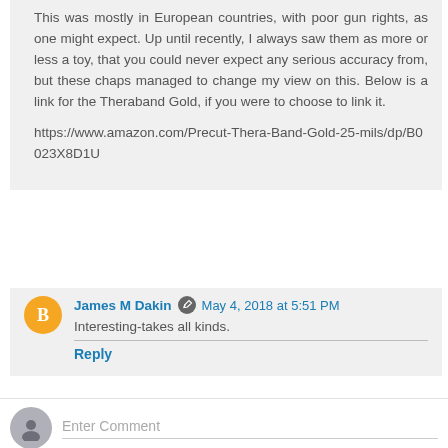This was mostly in European countries, with poor gun rights, as one might expect. Up until recently, I always saw them as more or less a toy, that you could never expect any serious accuracy from, but these chaps managed to change my view on this. Below is a link for the Theraband Gold, if you were to choose to link it.
https://www.amazon.com/Precut-Thera-Band-Gold-25-mils/dp/B0023X8D1U
James M Dakin  May 4, 2018 at 5:51 PM
Interesting-takes all kinds.
Reply
Enter Comment